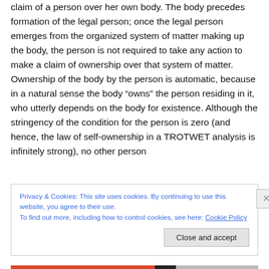claim of a person over her own body. The body precedes formation of the legal person; once the legal person emerges from the organized system of matter making up the body, the person is not required to take any action to make a claim of ownership over that system of matter. Ownership of the body by the person is automatic, because in a natural sense the body “owns” the person residing in it, who utterly depends on the body for existence. Although the stringency of the condition for the person is zero (and hence, the law of self-ownership in a TROTWET analysis is infinitely strong), no other person
Privacy & Cookies: This site uses cookies. By continuing to use this website, you agree to their use.
To find out more, including how to control cookies, see here: Cookie Policy